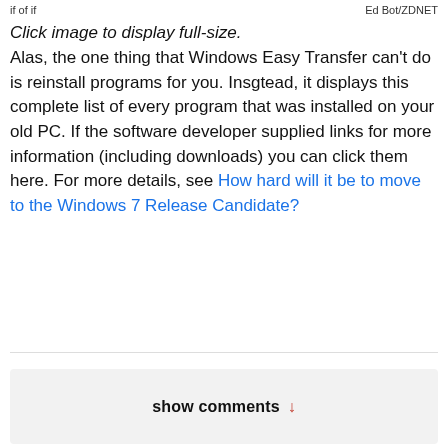if of if    Ed Bot/ZDNET
Click image to display full-size.
Alas, the one thing that Windows Easy Transfer can't do is reinstall programs for you. Insgtead, it displays this complete list of every program that was installed on your old PC. If the software developer supplied links for more information (including downloads) you can click them here. For more details, see How hard will it be to move to the Windows 7 Release Candidate?
show comments ↓